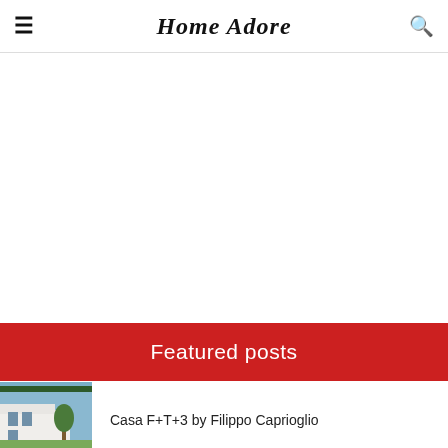Home Adore
[Figure (other): Blank advertisement area]
Featured posts
[Figure (photo): Holiday House H thumbnail — modern low house with forest backdrop]
Holiday House H by Playa Architects
[Figure (photo): Casa F+T+3 thumbnail — white modern cubic house with trees]
Casa F+T+3 by Filippo Caprioglio